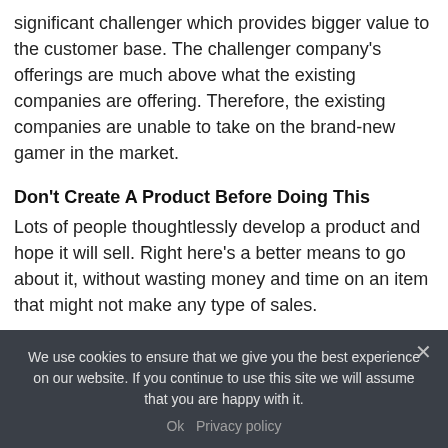significant challenger which provides bigger value to the customer base. The challenger company's offerings are much above what the existing companies are offering. Therefore, the existing companies are unable to take on the brand-new gamer in the market.
Don't Create A Product Before Doing This
Lots of people thoughtlessly develop a product and hope it will sell. Right here's a better means to go about it, without wasting money and time on an item that might not make any type of sales.
We use cookies to ensure that we give you the best experience on our website. If you continue to use this site we will assume that you are happy with it.
Ok   Privacy policy